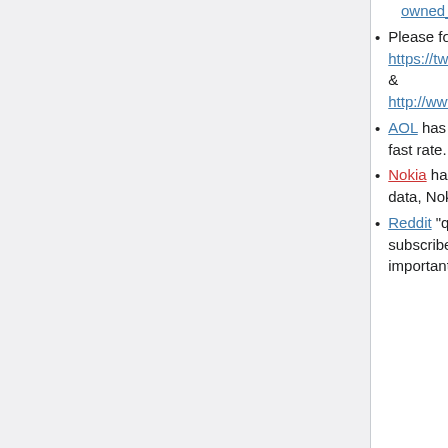owned_sites_and_services to shutdown (if it hasn't already).
Please follow the feeds! https://twitter.com/YahooVictims[IA•W & http://www.google.com/alerts/feeds/0
AOL has decided to follow in Yahoo's footsteps by mass-closing websites at an alarmingly fast rate. Be careful not to leave any important data with them!
Nokia has recently been shutting down services at an alarmingly fast rate. Back up your data, Nokia users!
Reddit "quarantines" many controversial subreddits with up to hundreds of thousands subscribers each. Many of such quarantined subreddits have been deleted, so it is important to make backups of them.